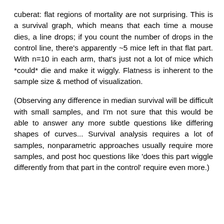cuberat: flat regions of mortality are not surprising. This is a survival graph, which means that each time a mouse dies, a line drops; if you count the number of drops in the control line, there's apparently ~5 mice left in that flat part. With n=10 in each arm, that's just not a lot of mice which *could* die and make it wiggly. Flatness is inherent to the sample size & method of visualization.
(Observing any difference in median survival will be difficult with small samples, and I'm not sure that this would be able to answer any more subtle questions like differing shapes of curves... Survival analysis requires a lot of samples, nonparametric approaches usually require more samples, and post hoc questions like 'does this part wiggle differently from that part in the control' require even more.)